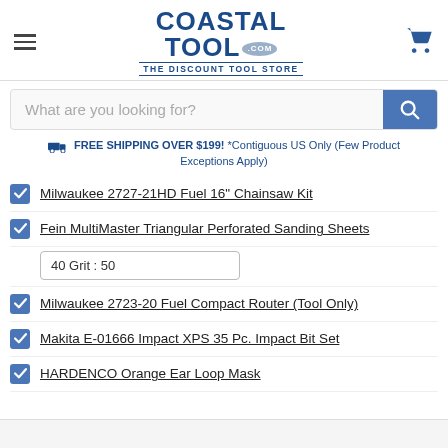[Figure (logo): Coastal Tool .com THE DISCOUNT TOOL STORE logo with dark blue text and shopping cart icon]
What are you looking for?
FREE SHIPPING OVER $199! *Contiguous US Only (Few Product Exceptions Apply)
Milwaukee 2727-21HD Fuel 16" Chainsaw Kit
Fein MultiMaster Triangular Perforated Sanding Sheets
40 Grit : 50
Milwaukee 2723-20 Fuel Compact Router (Tool Only)
Makita E-01666 Impact XPS 35 Pc. Impact Bit Set
HARDENCO Orange Ear Loop Mask